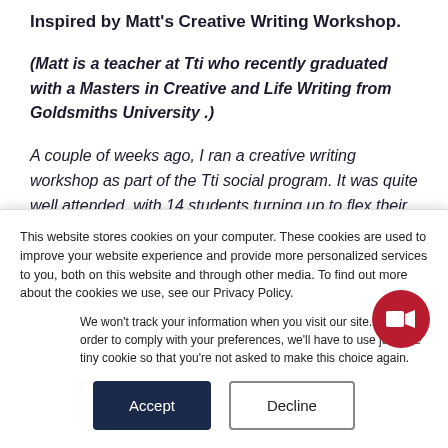Inspired by Matt's Creative Writing Workshop.
(Matt is a teacher at Tti who recently graduated with a Masters in Creative and Life Writing from Goldsmiths University .)
A couple of weeks ago, I ran a creative writing workshop as part of the Tti social program. It was quite well attended, with 14 students turning up to flex their creative muscles. The exercise was to draw
This website stores cookies on your computer. These cookies are used to improve your website experience and provide more personalized services to you, both on this website and through other media. To find out more about the cookies we use, see our Privacy Policy.
We won't track your information when you visit our site. But in order to comply with your preferences, we'll have to use just one tiny cookie so that you're not asked to make this choice again.
[Figure (other): Red circular video call button with camera icon]
Accept
Decline